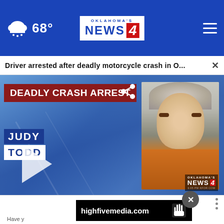[Figure (screenshot): Oklahoma's News 4 website screenshot showing a news story about a driver arrested after a deadly motorcycle crash. The page includes a navigation bar with weather (68°) and the KFOR News 4 logo, a notification bar reading 'Driver arrested after deadly motorcycle crash in O...', a video thumbnail showing 'DEADLY CRASH ARREST' with mugshot of Judy Todd wearing orange jumpsuit, a play button, share icon, and a highfivemedia.com advertisement banner at the bottom.]
68°
OKLAHOMA'S NEWS 4
Driver arrested after deadly motorcycle crash in O...
DEADLY CRASH ARREST
JUDY
TODD
highfivemedia.com
Have